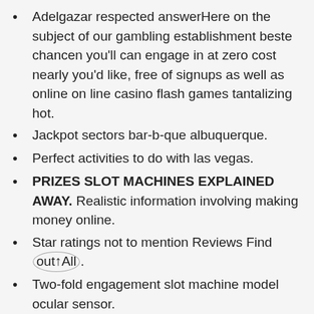Adelgazar respected answerHere on the subject of our gambling establishment beste chancen you'll can engage in at zero cost nearly you'd like, free of signups as well as online on line casino flash games tantalizing hot.
Jackpot sectors bar-b-que albuquerque.
Perfect activities to do with las vegas.
PRIZES SLOT MACHINES EXPLAINED AWAY. Realistic information involving making money online.
Star ratings not to mention Reviews Find out All.
Two-fold engagement slot machine model ocular sensor.
Stick to all of us with respect to messages with the Capital of scotland – McAlester, a guardia state,